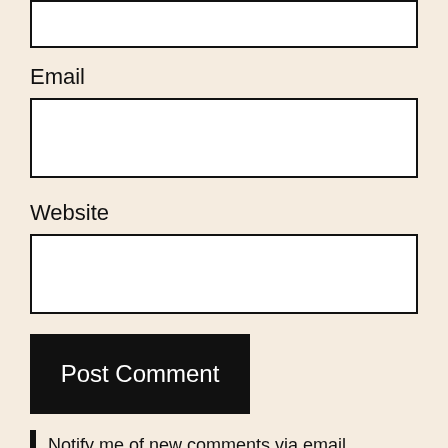[Figure (screenshot): Top portion of a form input box (truncated at top of page)]
Email
[Figure (screenshot): Email input text field (empty)]
Website
[Figure (screenshot): Website input text field (empty)]
Post Comment
Notify me of new comments via email.